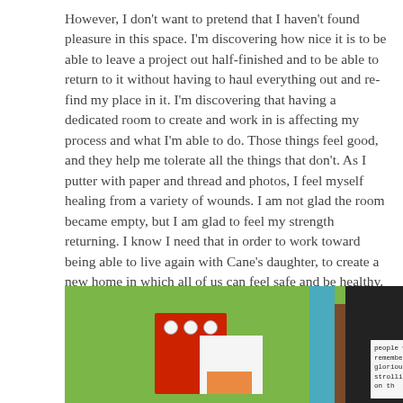However, I don't want to pretend that I haven't found pleasure in this space. I'm discovering how nice it is to be able to leave a project out half-finished and to be able to return to it without having to haul everything out and re-find my place in it. I'm discovering that having a dedicated room to create and work in is affecting my process and what I'm able to do. Those things feel good, and they help me tolerate all the things that don't. As I putter with paper and thread and photos, I feel myself healing from a variety of wounds. I am not glad the room became empty, but I am glad to feel my strength returning. I know I need that in order to work toward being able to live again with Cane's daughter, to create a new home in which all of us can feel safe and be healthy.
[Figure (photo): A craft/studio workspace photo showing a green cork board or surface with red and white cards/papers, a teal blue strip, a dark clipboard or folder on the right with a small card reading 'people will remember you glorious strolling on th...']